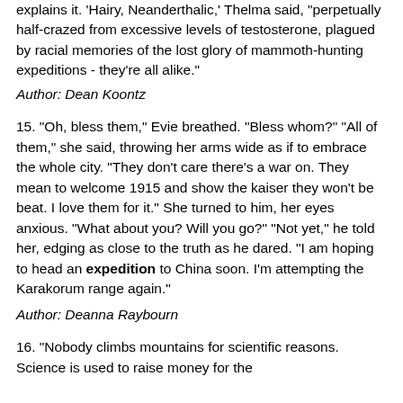explains it. 'Hairy, Neanderthalic,' Thelma said, "perpetually half-crazed from excessive levels of testosterone, plagued by racial memories of the lost glory of mammoth-hunting expeditions - they're all alike."
Author: Dean Koontz
15. "Oh, bless them," Evie breathed. "Bless whom?" "All of them," she said, throwing her arms wide as if to embrace the whole city. "They don't care there's a war on. They mean to welcome 1915 and show the kaiser they won't be beat. I love them for it." She turned to him, her eyes anxious. "What about you? Will you go?" "Not yet," he told her, edging as close to the truth as he dared. "I am hoping to head an expedition to China soon. I'm attempting the Karakorum range again."
Author: Deanna Raybourn
16. "Nobody climbs mountains for scientific reasons. Science is used to raise money for the